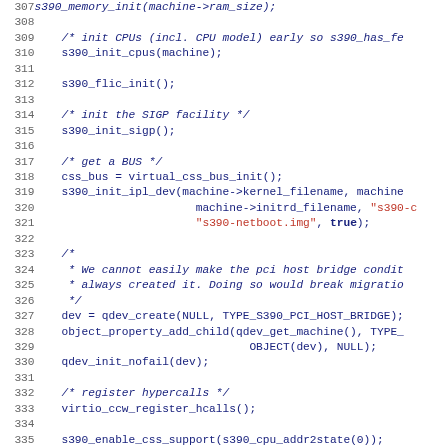[Figure (screenshot): Source code listing in C language showing lines 307-339 of a QEMU s390 machine initialization function. Line numbers appear on the left in gray, code in dark blue/navy monospace font, string literals in red.]